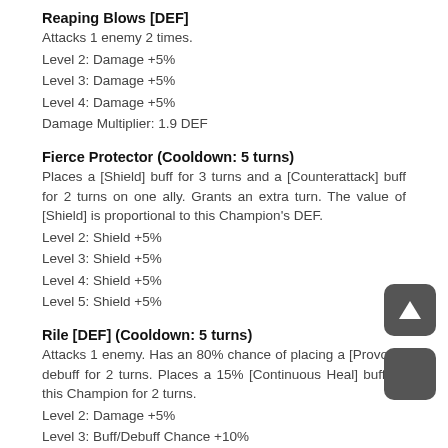Reaping Blows [DEF]
Attacks 1 enemy 2 times.
Level 2: Damage +5%
Level 3: Damage +5%
Level 4: Damage +5%
Damage Multiplier: 1.9 DEF
Fierce Protector (Cooldown: 5 turns)
Places a [Shield] buff for 3 turns and a [Counterattack] buff for 2 turns on one ally. Grants an extra turn. The value of [Shield] is proportional to this Champion's DEF.
Level 2: Shield +5%
Level 3: Shield +5%
Level 4: Shield +5%
Level 5: Shield +5%
Rile [DEF] (Cooldown: 5 turns)
Attacks 1 enemy. Has an 80% chance of placing a [Provoke] debuff for 2 turns. Places a 15% [Continuous Heal] buff on this Champion for 2 turns.
Level 2: Damage +5%
Level 3: Buff/Debuff Chance +10%
Level 4: Damage +5%
Level 5: Buff/Debuff Chance +10%
Level 6: Cooldown -1
Damage Multiplier: 5.8 DEF